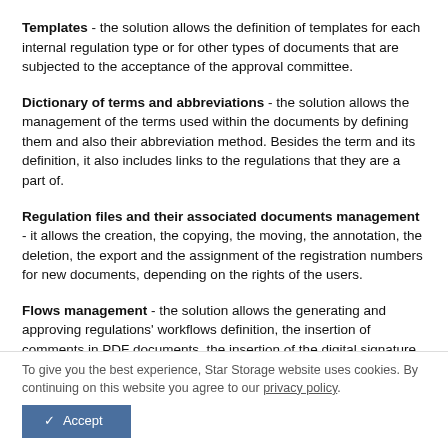Templates - the solution allows the definition of templates for each internal regulation type or for other types of documents that are subjected to the acceptance of the approval committee.
Dictionary of terms and abbreviations - the solution allows the management of the terms used within the documents by defining them and also their abbreviation method. Besides the term and its definition, it also includes links to the regulations that they are a part of.
Regulation files and their associated documents management - it allows the creation, the copying, the moving, the annotation, the deletion, the export and the assignment of the registration numbers for new documents, depending on the rights of the users.
Flows management - the solution allows the generating and approving regulations' workflows definition, the insertion of comments in PDF documents, the insertion of the digital signature of the authorized party and the automatic archiving of the file when it is approved/rejected by the
To give you the best experience, Star Storage website uses cookies. By continuing on this website you agree to our privacy policy.